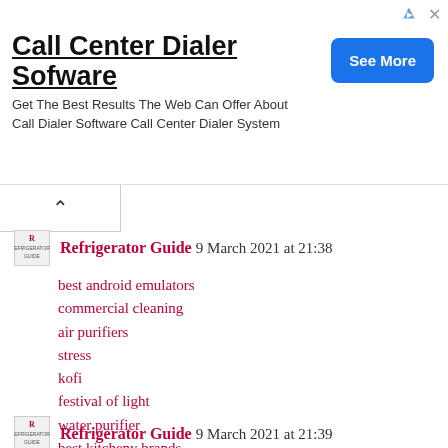[Figure (screenshot): Advertisement banner for 'Call Center Dialer Sofware' with a blue 'See More' button]
Call Center Dialer Sofware
Get The Best Results The Web Can Offer About Call Dialer Software Call Center Dialer System
Refrigerator Guide 9 March 2021 at 21:38
best android emulators
commercial cleaning
air purifiers
stress
kofi
festival of light
water purifier
best kitcheny brands
carpet cleanings
Reply
Refrigerator Guide 9 March 2021 at 21:39